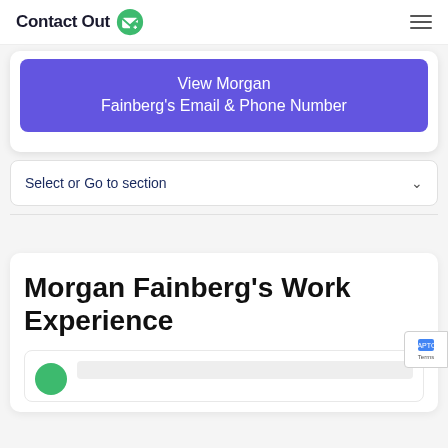ContactOut
View Morgan Fainberg's Email & Phone Number
Select or Go to section
Morgan Fainberg's Work Experience